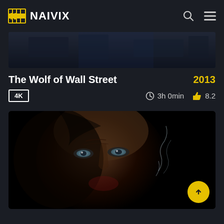NAIVIX
[Figure (screenshot): Dark cinematic movie scene banner at top, showing interior with blue/dark tones]
The Wolf of Wall Street
2013
4K
3h 0min
8.2
[Figure (photo): Close-up movie poster of a man's face (The Wolf of Wall Street) with dramatic dark lighting and smoke visible]